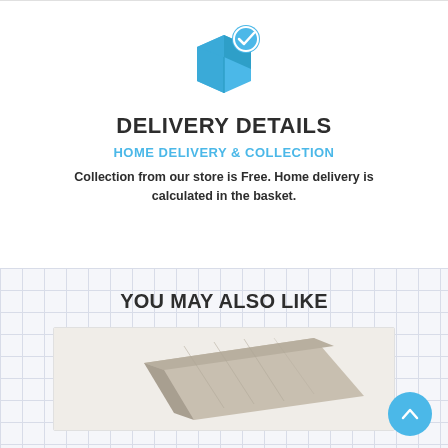[Figure (illustration): Blue delivery box icon with a blue checkmark circle badge in the top right corner]
DELIVERY DETAILS
HOME DELIVERY & COLLECTION
Collection from our store is Free. Home delivery is calculated in the basket.
YOU MAY ALSO LIKE
[Figure (photo): Partial view of a wood/laminate flooring plank product image]